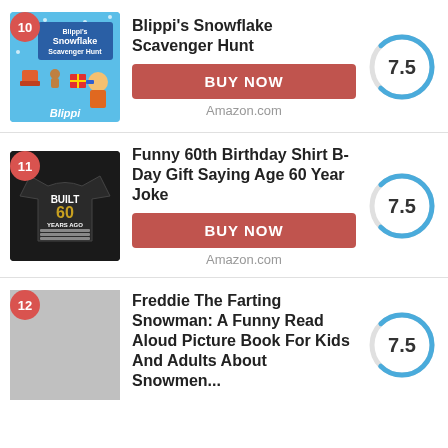[Figure (other): Product listing item 10: Blippi's Snowflake Scavenger Hunt book cover with score 7.5]
[Figure (other): Product listing item 11: Funny 60th Birthday Shirt B-Day Gift Saying Age 60 Year Joke with score 7.5]
[Figure (other): Product listing item 12: Freddie The Farting Snowman book with score 7.5]